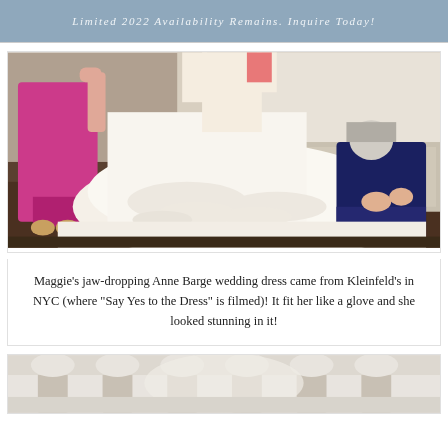Limited 2022 Availability Remains. Inquire Today!
[Figure (photo): A bride in a white ballgown wedding dress being assisted by two women — one in a bright pink/magenta dress on the left, and one in a navy blue outfit kneeling on the right, adjusting the hem of the dress. Indoor setting with light coming through windows.]
Maggie's jaw-dropping Anne Barge wedding dress came from Kleinfeld's in NYC (where "Say Yes to the Dress" is filmed)! It fit her like a glove and she looked stunning in it!
[Figure (photo): Partial view of an interior space, possibly a church or hall, with blurred architectural details visible — appears to show arched windows or columns in soft focus.]